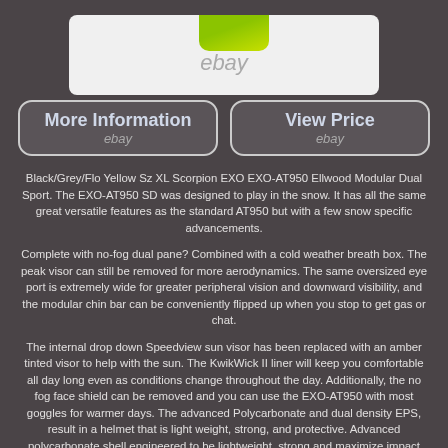[Figure (photo): Partial image of a helmet (green/black) with eBay watermark, shown in a white rounded box at the top of the page.]
[Figure (infographic): Two rounded rectangle buttons side by side: 'More Information / ebay' and 'View Price / ebay']
Black/Grey/Flo Yellow Sz XL Scorpion EXO EXO-AT950 Ellwood Modular Dual Sport. The EXO-AT950 SD was designed to play in the snow. It has all the same great versatile features as the standard AT950 but with a few snow specific advancements.
Complete with no-fog dual pane? Combined with a cold weather breath box. The peak visor can still be removed for more aerodynamics. The same oversized eye port is extremely wide for greater peripheral vision and downward visibility, and the modular chin bar can be conveniently flipped up when you stop to get gas or chat.
The internal drop down Speedview sun visor has been replaced with an amber tinted visor to help with the sun. The KwikWick II liner will keep you comfortable all day long even as conditions change throughout the day. Additionally, the no fog face shield can be removed and you can use the EXO-AT950 with most goggles for warmer days. The advanced Polycarbonate and dual density EPS, result in a helmet that is light weight, strong, and protective. Advanced polycarbonate shell engineered to be lightweight, strong and maximize impact displacement.
Advanced multi-layer dual density EPS (Expanded Polystyrene) provides superior energy displacement. Aero-Tuned ventilation, intake vents force...